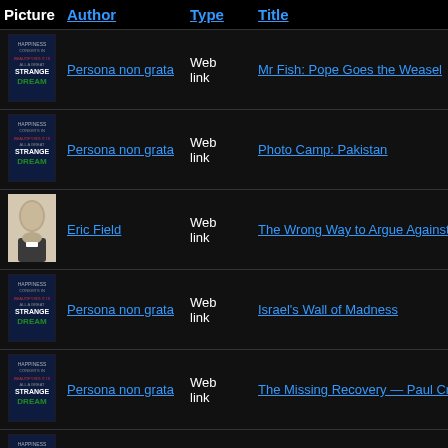| Picture | Author | Type | Title |
| --- | --- | --- | --- |
| [book] | Persona non grata | Web link | Mr Fish: Pope Goes the Weasel |
| [book] | Persona non grata | Web link | Photo Camp: Pakistan |
| [person] | Eric Field | Web link | The Wrong Way to Argue Against M... |
| [book] | Persona non grata | Web link | Israel's Wall of Madness |
| [book] | Persona non grata | Web link | The Missing Recovery — Paul Craig... |
| [book] | Persona non grata | Web link | 50 Signs That The U.S. Health Care Gigantic Money Making Scam That... |
| [book] | Persona non grata | Web link | 46,609,072 People on Food Stamps 47,791,996 in December |
| [person] | Melinda L. | Web | Poverty in the U.S.A: Nearly 50 Milli... |